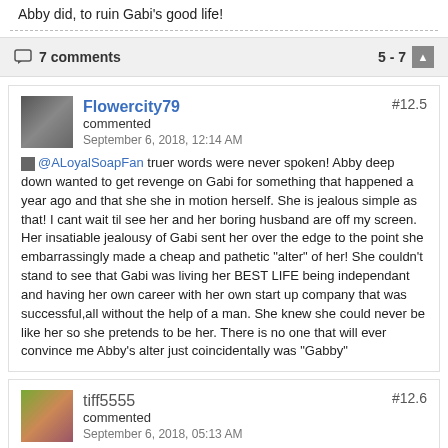Abby did, to ruin Gabi's good life!
7 comments   5 - 7
Flowercity79 commented
September 6, 2018, 12:14 AM
#12.5
@ALoyalSoapFan truer words were never spoken! Abby deep down wanted to get revenge on Gabi for something that happened a year ago and that she she in motion herself. She is jealous simple as that! I cant wait til see her and her boring husband are off my screen. Her insatiable jealousy of Gabi sent her over the edge to the point she embarrassingly made a cheap and pathetic "alter" of her! She couldn't stand to see that Gabi was living her BEST LIFE being independant and having her own career with her own start up company that was successful,all without the help of a man. She knew she could never be like her so she pretends to be her. There is no one that will ever convince me Abby's alter just coincidentally was "Gabby"
tiff5555 commented
September 6, 2018, 05:13 AM
#12.6
Unfortunately, Abby did blame Gabi, when sane in GabiChic room before she blacked out. And did not want to face the truth of what she did. No wonder why Gabi is upset. Gabi feels like Abby wanted to punish her of loving Chad. Abby's alters did show, how much the feelings hated Gabi. Anyway, what else I can say.